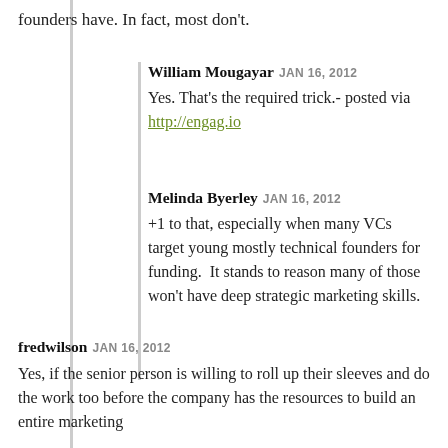founders have. In fact, most don't.
William Mougayar JAN 16, 2012
Yes. That's the required trick.- posted via http://engag.io
Melinda Byerley JAN 16, 2012
+1 to that, especially when many VCs target young mostly technical founders for funding.  It stands to reason many of those won't have deep strategic marketing skills.
fredwilson JAN 16, 2012
Yes, if the senior person is willing to roll up their sleeves and do the work too before the company has the resources to build an entire marketing